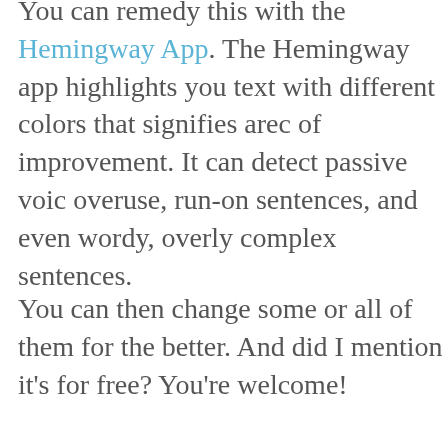You can remedy this with the Hemingway App. The Hemingway app highlights your text with different colors that signifies areas of improvement. It can detect passive voice overuse, run-on sentences, and even wordy, overly complex sentences.
You can then change some or all of them for the better. And did I mention it's for free? You're welcome!